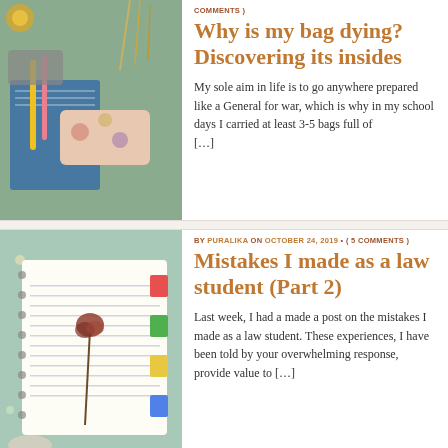[Figure (photo): Overhead flat lay of school/stationery items: notebooks, pencil cases, pens, dried wheat stalks on a teal/colourful background]
COMMENTS )
Why is my bag dying? Discovering its insides
My sole aim in life is to go anywhere prepared like a General for war, which is why in my school days I carried at least 3-5 bags full of [...]
[Figure (photo): Spiral-bound notebook with a dried rose on lined pages, colourful tab dividers, on a floral background with a small dish]
BY PURALIKA ON OCTOBER 24, 2019 • ( 5 COMMENTS )
Mistakes I made as a law student (Part 2)
Last week, I had a made a post on the mistakes I made as a law student. These experiences, I have been told by your overwhelming response, provide value to [...]